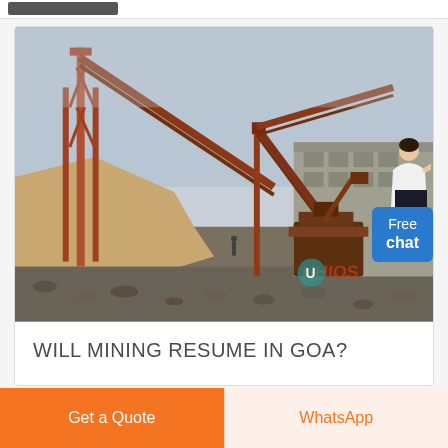[Figure (photo): Outdoor mining facility with large rusty orange steel conveyor structures, piles of sand/gravel, heavy machinery, and industrial buildings in the background. A watermark logo is visible in the lower right area of the image.]
WILL MINING RESUME IN GOA?
Get a Quote
WhatsApp